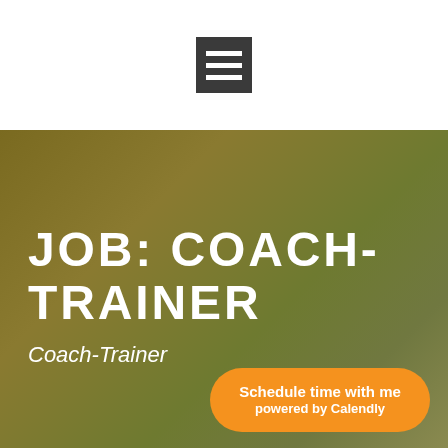[Figure (other): Hamburger menu icon — dark square with three white horizontal lines]
JOB: COACH-TRAINER
Coach-Trainer
Schedule time with me powered by Calendly